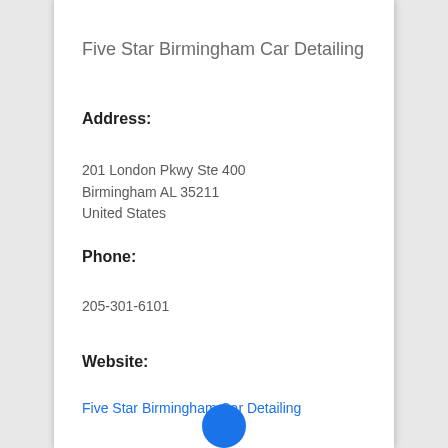Five Star Birmingham Car Detailing
Address:
201 London Pkwy Ste 400
Birmingham AL 35211
United States
Phone:
205-301-6101
Website:
Five Star Birmingham Car Detailing